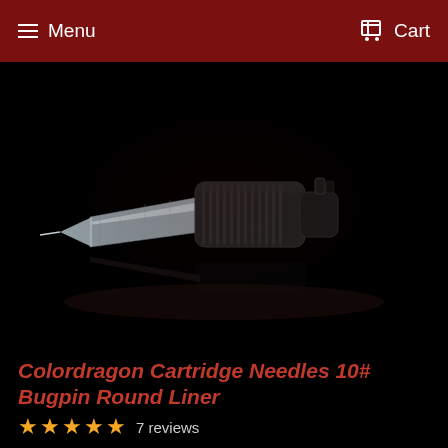Menu   Cart
[Figure (photo): A tattoo cartridge needle with clear plastic tip and black cylindrical body, photographed on a black reflective surface with dramatic lighting.]
Colordragon Cartridge Needles 10# Bugpin Round Liner
★★★★★ 7 reviews